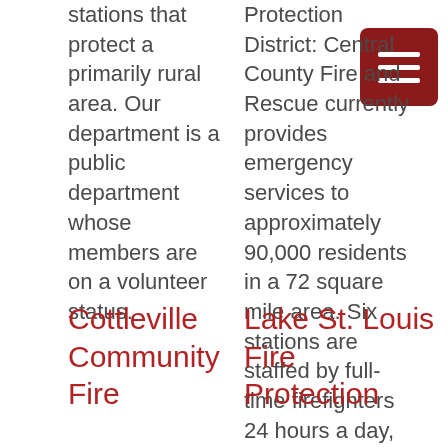stations that protect a primarily rural area. Our department is a public department whose members are on a volunteer status.
Protection District: Central County Fire and Rescue currently provides emergency services to approximately 90,000 residents in a 72 square mile area. Six stations are staffed by full-time firefighters 24 hours a day, 365 days a year.
Cottleville Community Fire
Lake St. Louis Fire Protection